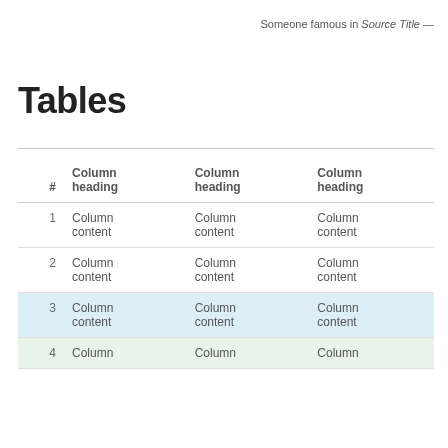Someone famous in Source Title —
Tables
| # | Column heading | Column heading | Column heading |
| --- | --- | --- | --- |
| 1 | Column content | Column content | Column content |
| 2 | Column content | Column content | Column content |
| 3 | Column content | Column content | Column content |
| 4 | Column | Column | Column |